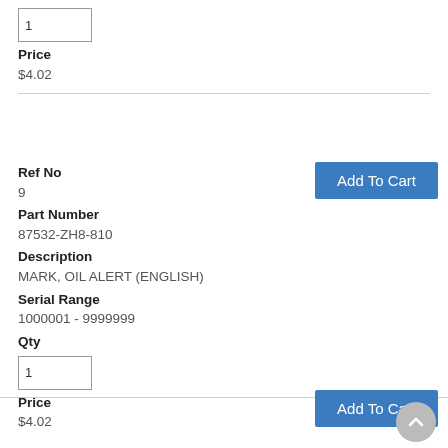Price
$4.02
Add To Cart
Ref No
9
Part Number
87532-ZH8-810
Description
MARK, OIL ALERT (ENGLISH)
Serial Range
1000001 - 9999999
Qty
Price
$4.02
Add To Cart